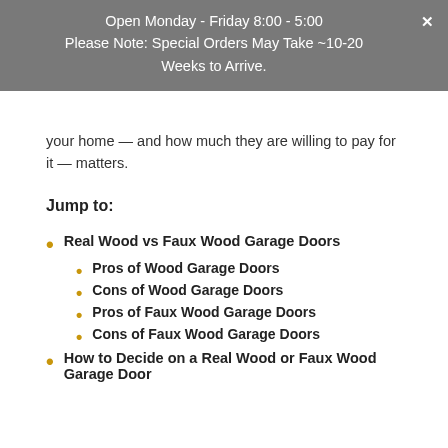Open Monday - Friday 8:00 - 5:00
Please Note: Special Orders May Take ~10-20 Weeks to Arrive.
your home — and how much they are willing to pay for it — matters.
Jump to:
Real Wood vs Faux Wood Garage Doors
Pros of Wood Garage Doors
Cons of Wood Garage Doors
Pros of Faux Wood Garage Doors
Cons of Faux Wood Garage Doors
How to Decide on a Real Wood or Faux Wood Garage Door